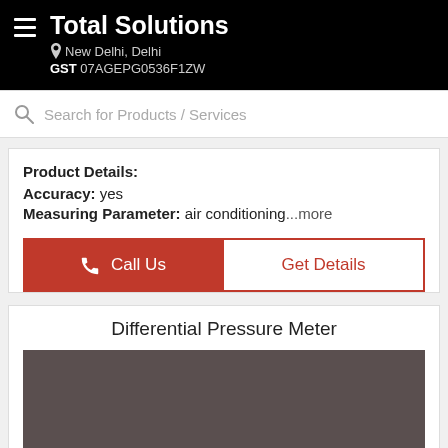Total Solutions
New Delhi, Delhi
GST 07AGEPG0536F1ZW
Search for Products / Services
Product Details:
Accuracy: yes
Measuring Parameter: air conditioning...more
Call Us
Get Details
Differential Pressure Meter
[Figure (photo): Dark brownish-grey placeholder image area for Differential Pressure Meter product photo]